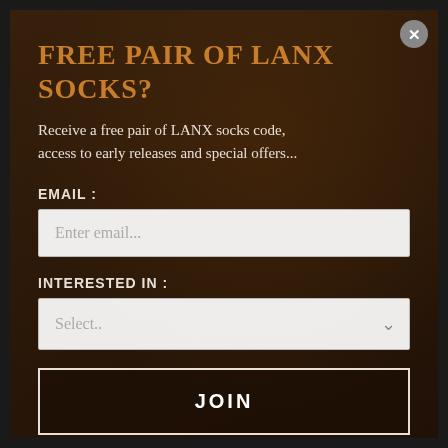[Figure (screenshot): Dark brown background showing leather dress shoes on wooden surface, serving as backdrop for promotional popup modal]
FREE PAIR OF LANX SOCKS?
Receive a free pair of LANX socks code, access to early releases and special offers...
EMAIL :
Enter email...
INTERESTED IN :
Select..
JOIN